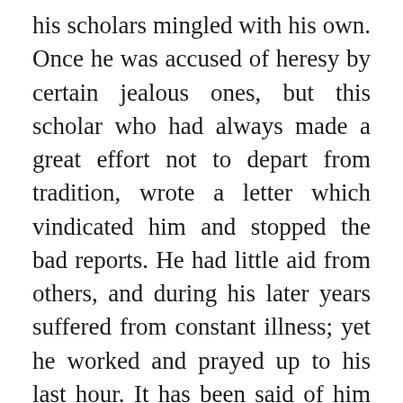his scholars mingled with his own. Once he was accused of heresy by certain jealous ones, but this scholar who had always made a great effort not to depart from tradition, wrote a letter which vindicated him and stopped the bad reports. He had little aid from others, and during his later years suffered from constant illness; yet he worked and prayed up to his last hour. It has been said of him that it is easier to admire him in thought than to do him justice in expression.

The Saint was employed in translating the Gospel of Saint John from the Greek, even to the hour of his death